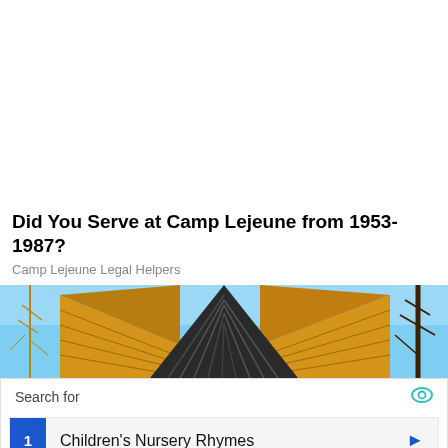Did You Serve at Camp Lejeune from 1953-1987?
Camp Lejeune Legal Helpers
[Figure (photo): Photo of a wooden house rooftop with metal ridge and blue sky with bare tree branches]
Search for
1  Children's Nursery Rhymes
2  Nursery Rhymes With Lyrics